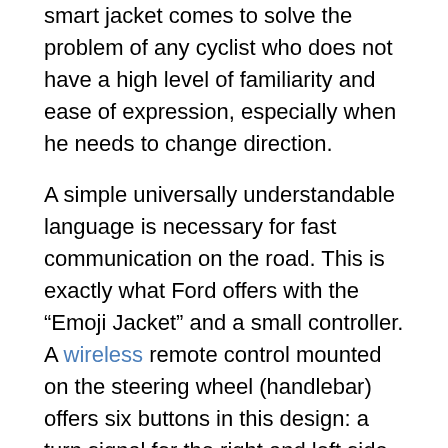smart jacket comes to solve the problem of any cyclist who does not have a high level of familiarity and ease of expression, especially when he needs to change direction.
A simple universally understandable language is necessary for fast communication on the road. This is exactly what Ford offers with the “Emoji Jacket” and a small controller. A wireless remote control mounted on the steering wheel (handlebar) offers six buttons in this design: a turn signal for the right and left side, a warning sign and three emojis with a laughing, sad and neutral expression. According to the carmaker, these emojis will help the cyclist to show what they think of the driving style of the person behind them. Once you select any symbol, it will appear on the back of the jacket.
https://youtu.be/g756nqX-jUU?list=PLSDdJ-bq9Y19Z5h2q4lxtlrP2HK3SyInR